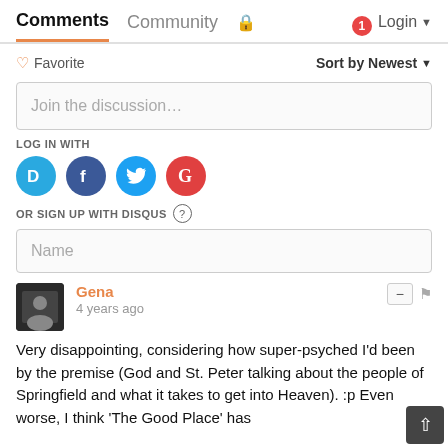Comments  Community  Login
♡ Favorite    Sort by Newest
Join the discussion…
LOG IN WITH
[Figure (logo): Social login icons: Disqus (D), Facebook (F), Twitter bird, Google (G)]
OR SIGN UP WITH DISQUS ?
Name
Gena
4 years ago
Very disappointing, considering how super-psyched I'd been by the premise (God and St. Peter talking about the people of Springfield and what it takes to get into Heaven). :p Even worse, I think 'The Good Place' has